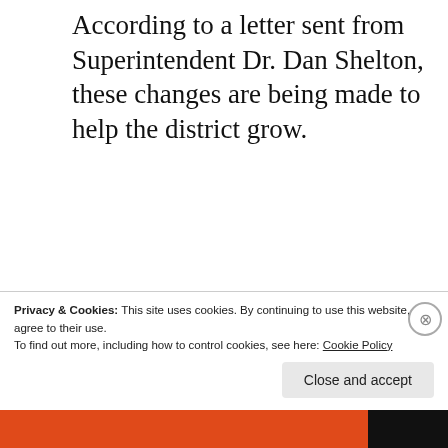According to a letter sent from Superintendent Dr. Dan Shelton, these changes are being made to help the district grow.
Capital School District has engaged much of the community in its Strategic Planning Process over the last 2 years.  As part of
Privacy & Cookies: This site uses cookies. By continuing to use this website, you agree to their use.
To find out more, including how to control cookies, see here: Cookie Policy
Close and accept